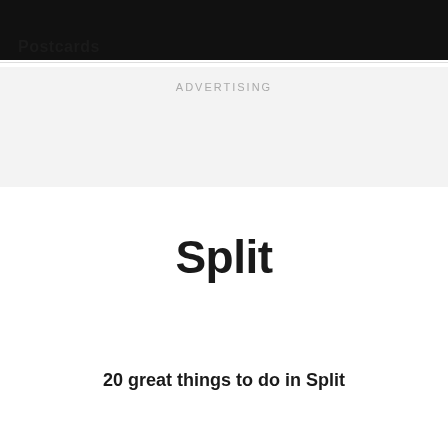Postcards
ADVERTISING
Split
20 great things to do in Split